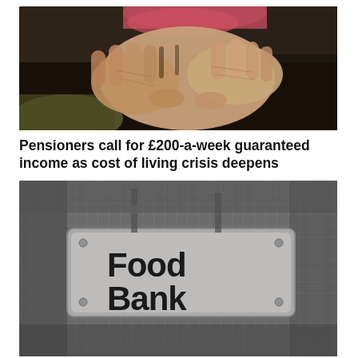[Figure (photo): Close-up photograph of elderly people's hands clasped together, showing aged skin and a red/pink sweater sleeve. Dark background.]
Pensioners call for £200-a-week guaranteed income as cost of living crisis deepens
[Figure (photo): Black and white photograph of a 'Food Bank' sign on a wire mesh/grid background.]
Food banks in Canada in crisis amid high inflation,